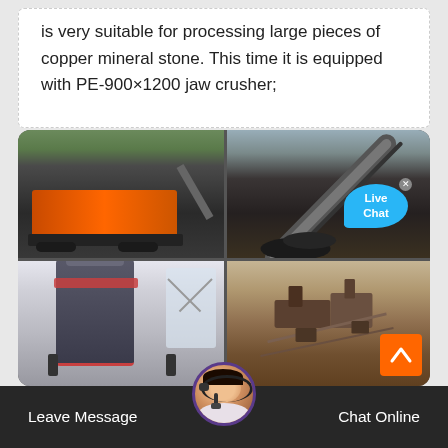is very suitable for processing large pieces of copper mineral stone. This time it is equipped with PE-900×1200 jaw crusher;
[Figure (photo): Grid of four mining/crushing equipment photos: top-left shows an orange mobile jaw crusher on tracks at a mining site; top-right shows a large conveyor belt system with crushed material; bottom-left shows a gray cone crusher in an industrial facility; bottom-right shows an aerial view of a mining operation with equipment and excavated terrain. A 'Live Chat' speech bubble overlay appears on the top-right image. An orange scroll-to-top button appears at bottom-right. A customer service bar at the bottom with avatar, 'Leave Message' and 'Chat Online' buttons.]